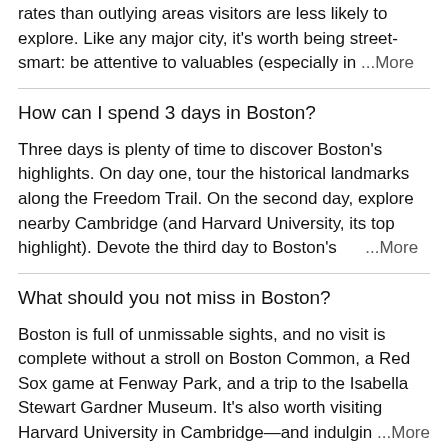rates than outlying areas visitors are less likely to explore. Like any major city, it's worth being street-smart: be attentive to valuables (especially in ...More
How can I spend 3 days in Boston?
Three days is plenty of time to discover Boston's highlights. On day one, tour the historical landmarks along the Freedom Trail. On the second day, explore nearby Cambridge (and Harvard University, its top highlight). Devote the third day to Boston's ...More
What should you not miss in Boston?
Boston is full of unmissable sights, and no visit is complete without a stroll on Boston Common, a Red Sox game at Fenway Park, and a trip to the Isabella Stewart Gardner Museum. It's also worth visiting Harvard University in Cambridge—and indulgin ...More